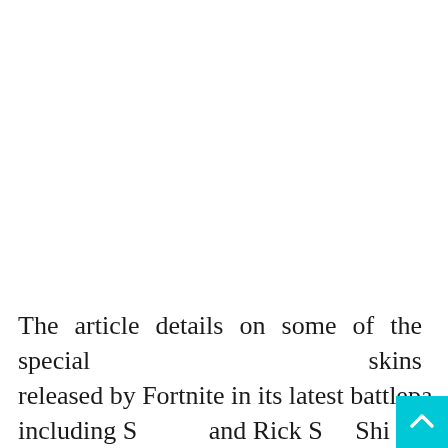The article details on some of the special skins released by Fortnite in its latest battlepa including S and Rick S Shi